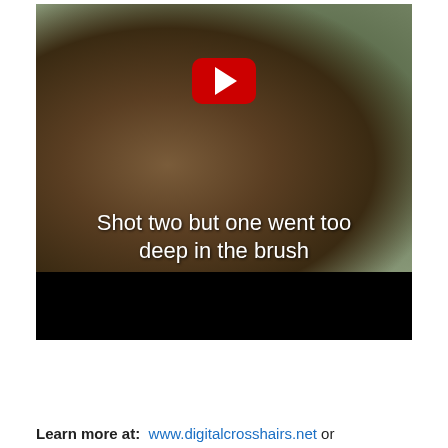[Figure (screenshot): A YouTube video thumbnail showing a hunter kneeling beside a harvested deer at night, with an overlaid text caption reading 'Shot two but one went too deep in the brush'. A red YouTube play button is centered in the upper portion of the image. The lower portion of the video player shows a black bar.]
Learn more at:  www.digitalcrosshairs.net or